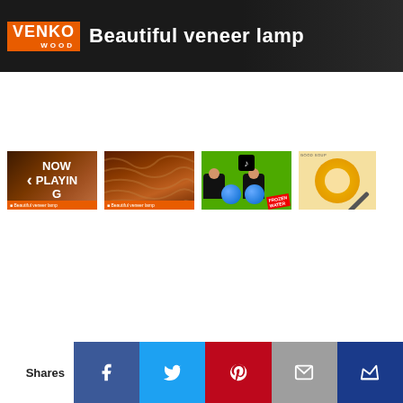[Figure (screenshot): Video player banner showing VENKO WOOD logo and title 'Beautiful veneer lamp' on dark background]
[Figure (screenshot): Four video thumbnails in a row: (1) NOW PLAYING with wood texture, (2) wood veneer pattern, (3) TikTok-style video with two people and blue balls labeled FROZEN WATER, (4) food/soup photo]
Shares
[Figure (infographic): Social share buttons row: Facebook (blue), Twitter (light blue), Pinterest (red), Email (gray), Kindred (dark blue)]